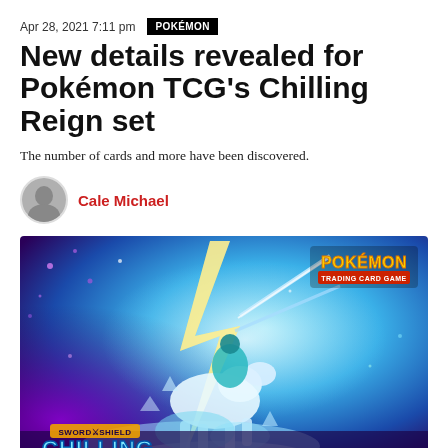Apr 28, 2021 7:11 pm   POKÉMON
New details revealed for Pokémon TCG's Chilling Reign set
The number of cards and more have been discovered.
Cale Michael
[Figure (illustration): Pokémon TCG Sword & Shield Chilling Reign booster box art featuring Calyrex and Ice Rider on a white horse, with icy and electric effects, purple and blue background, Pokémon TCG logo top right, Sword & Shield Chilling Reign logo bottom left.]